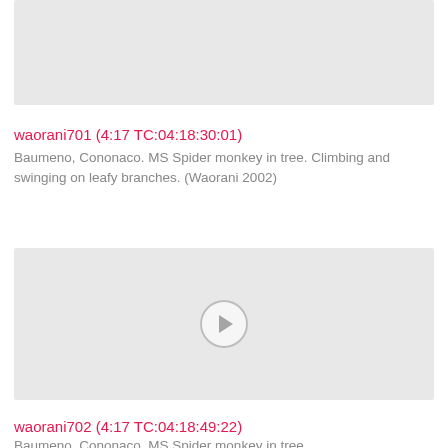[Figure (screenshot): Video thumbnail placeholder - light gray rectangle with play button icon, partially visible at top of page]
waorani701 (4:17 TC:04:18:30:01)
Baumeno, Cononaco. MS Spider monkey in tree. Climbing and swinging on leafy branches. (Waorani 2002)
[Figure (screenshot): Video thumbnail placeholder - light gray rectangle with play button icon (circle with arrow)]
waorani702 (4:17 TC:04:18:49:22)
Baumeno, Cononaco. MS Spider monkey in tree.